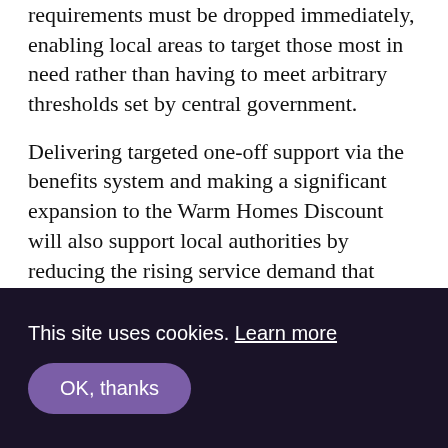requirements must be dropped immediately, enabling local areas to target those most in need rather than having to meet arbitrary thresholds set by central government.

Delivering targeted one-off support via the benefits system and making a significant expansion to the Warm Homes Discount will also support local authorities by reducing the rising service demand that many have seen in the absence of targeted interventions to date. As identified by our previous analysis, different areas experience different pressures which make
This site uses cookies. Learn more
OK, thanks